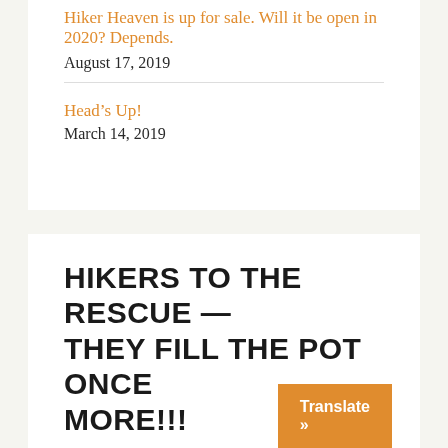Hiker Heaven is up for sale. Will it be open in 2020? Depends.
August 17, 2019
Head’s Up!
March 14, 2019
HIKERS TO THE RESCUE — THEY FILL THE POT ONCE MORE!!!
Five thousand thanks to all who have supported Hiker Heaven with gifts to help us replace the sep... leech field — we have met the goal. Materi...